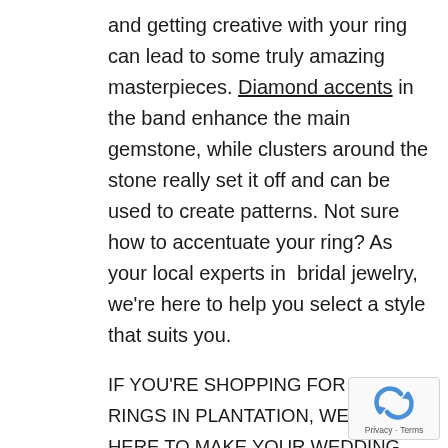and getting creative with your ring can lead to some truly amazing masterpieces. Diamond accents in the band enhance the main gemstone, while clusters around the stone really set it off and can be used to create patterns. Not sure how to accentuate your ring? As your local experts in  bridal jewelry, we're here to help you select a style that suits you.
IF YOU'RE SHOPPING FOR BRIDAL RINGS IN PLANTATION, WE'RE HERE TO MAKE YOUR WEDDING RING DREAMS COME TRUE! Whether you're looking for traditional or the newest trends, we've got what you're looking for. To schedule a consultation, or to order your perfect set, call (954) 424-2120 today.